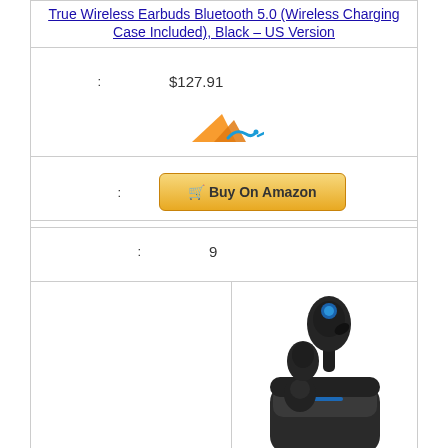True Wireless Earbuds Bluetooth 5.0 (Wireless Charging Case Included), Black – US Version
| : | $127.91 |
| : | Buy On Amazon |
[Figure (logo): Orange/blue arrow logo (4n style)]
| : | 9 |
[Figure (photo): Black true wireless earbuds in charging case, earbud lifted out showing blue LED detail]